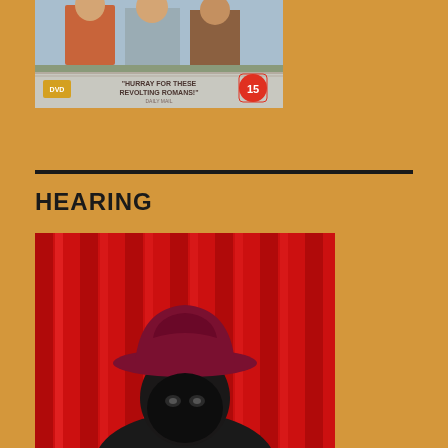[Figure (photo): DVD cover showing people in Roman costumes with text 'HURRAY FOR THESE REVOLTING ROMANS!' - Daily Mail, with a DVD logo and age rating 15 badge]
HEARING
[Figure (photo): A figure wearing a dark cowboy hat and black mask in front of a red curtain background]